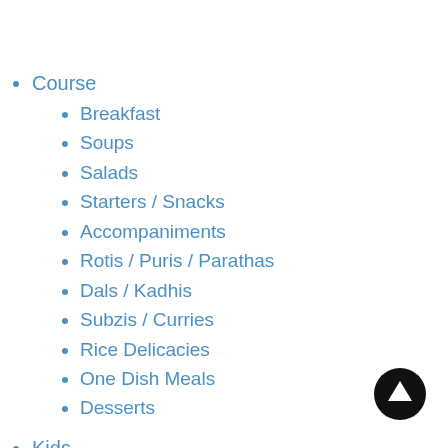Course
Breakfast
Soups
Salads
Starters / Snacks
Accompaniments
Rotis / Puris / Parathas
Dals / Kadhis
Subzis / Curries
Rice Delicacies
One Dish Meals
Desserts
Kids
Tiffin Treats